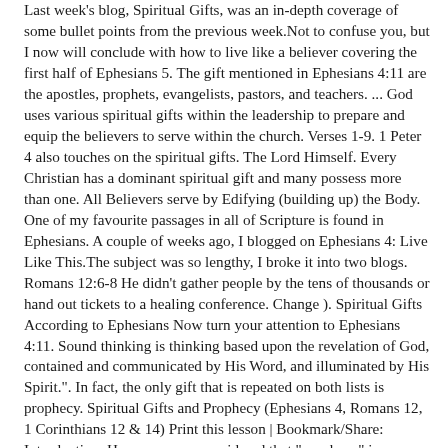Last week's blog, Spiritual Gifts, was an in-depth coverage of some bullet points from the previous week.Not to confuse you, but I now will conclude with how to live like a believer covering the first half of Ephesians 5. The gift mentioned in Ephesians 4:11 are the apostles, prophets, evangelists, pastors, and teachers. ... God uses various spiritual gifts within the leadership to prepare and equip the believers to serve within the church. Verses 1-9. 1 Peter 4 also touches on the spiritual gifts. The Lord Himself. Every Christian has a dominant spiritual gift and many possess more than one. All Believers serve by Edifying (building up) the Body. One of my favourite passages in all of Scripture is found in Ephesians. A couple of weeks ago, I blogged on Ephesians 4: Live Like This.The subject was so lengthy, I broke it into two blogs. Romans 12:6-8 He didn't gather people by the tens of thousands or hand out tickets to a healing conference. Change ). Spiritual Gifts According to Ephesians Now turn your attention to Ephesians 4:11. Sound thinking is thinking based upon the revelation of God, contained and communicated by His Word, and illuminated by His Spirit.". In fact, the only gift that is repeated on both lists is prophecy. Spiritual Gifts and Prophecy (Ephesians 4, Romans 12, 1 Corinthians 12 & 14) Print this lesson | Bookmark/Share: Introduction: Have you ever considered that "prophecy" is a spiritual gift much like teaching? ( Log Out /  Paul then quotes from Psalm 68:18 (Ephesians 4:8) as the basis for his next teaching. Pastor/Teachers serve by Equipping (preparing) all believers to serve and worship God by using their spiritual